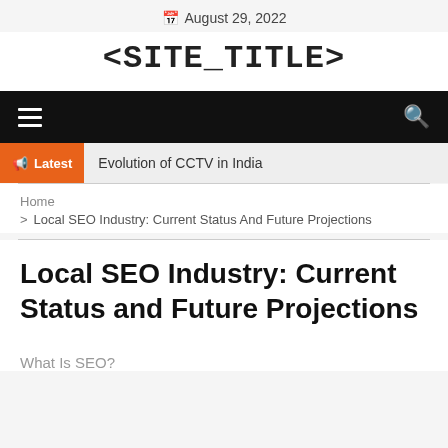August 29, 2022
<SITE_TITLE>
[Figure (other): Black navigation bar with hamburger menu icon on left and search icon on right]
Latest  Evolution of CCTV in India
Home
> Local SEO Industry: Current Status And Future Projections
Local SEO Industry: Current Status and Future Projections
What Is SEO?